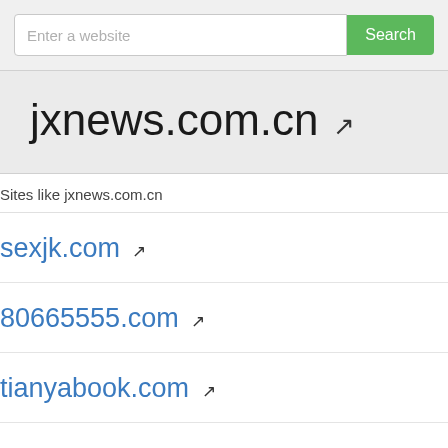Enter a website
jxnews.com.cn
Sites like jxnews.com.cn
sexjk.com
80665555.com
tianyabook.com